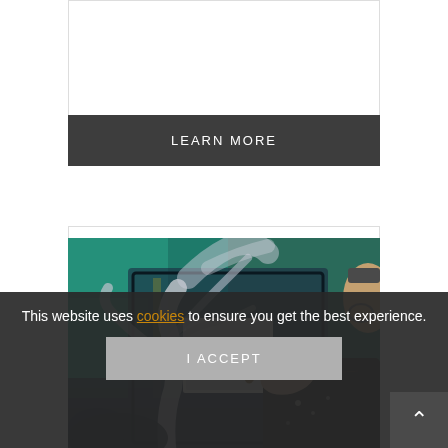[Figure (other): Top partial card with border, showing upper section of a content card with a Learn More button]
LEARN MORE
[Figure (photo): An artist painting a surrealist artwork featuring a tree with smoky branches against a teal/green background, with a white square canvas element; the artist's hand holding a paintbrush is visible on the right side]
This website uses cookies to ensure you get the best experience.
I ACCEPT